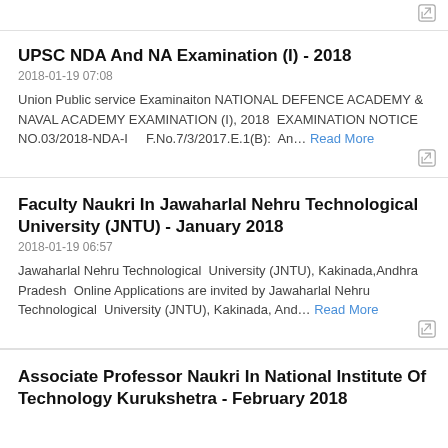UPSC NDA And NA Examination (I) - 2018
2018-01-19 07:08
Union Public service Examinaiton NATIONAL DEFENCE ACADEMY & NAVAL ACADEMY EXAMINATION (I), 2018  EXAMINATION NOTICE NO.03/2018-NDA-I    F.No.7/3/2017.E.1(B):  An… Read More
Faculty Naukri In Jawaharlal Nehru Technological University (JNTU) - January 2018
2018-01-19 06:57
Jawaharlal Nehru Technological  University (JNTU), Kakinada,Andhra Pradesh  Online Applications are invited by Jawaharlal Nehru Technological  University (JNTU), Kakinada, And… Read More
Associate Professor Naukri In National Institute Of Technology Kurukshetra - February 2018